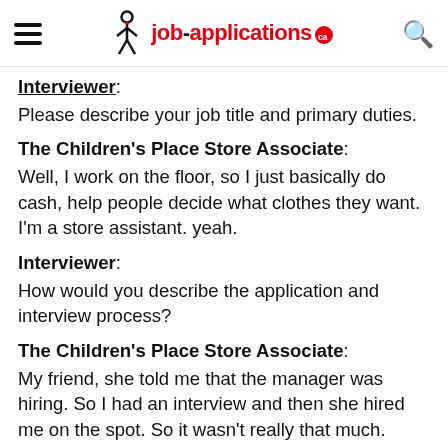job-applications.ca
Interviewer: Please describe your job title and primary duties.
The Children's Place Store Associate: Well, I work on the floor, so I just basically do cash, help people decide what clothes they want. I'm a store assistant. yeah.
Interviewer: How would you describe the application and interview process?
The Children's Place Store Associate: My friend, she told me that the manager was hiring. So I had an interview and then she hired me on the spot. So it wasn't really that much.